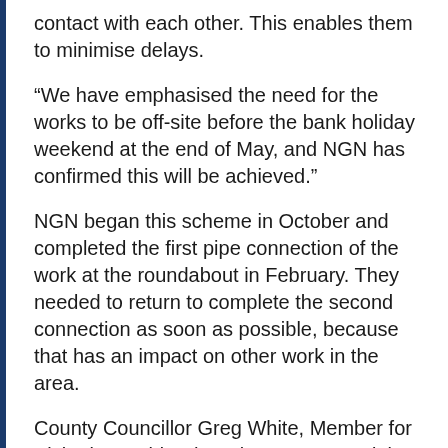contact with each other. This enables them to minimise delays.
“We have emphasised the need for the works to be off-site before the bank holiday weekend at the end of May, and NGN has confirmed this will be achieved.”
NGN began this scheme in October and completed the first pipe connection of the work at the roundabout in February. They needed to return to complete the second connection as soon as possible, because that has an impact on other work in the area.
County Councillor Greg White, Member for Pickering, said: “There is never a good time to do work of this sort. Our highways team will always do their best to ensure that such work is done quickly and with minimum disruption.”